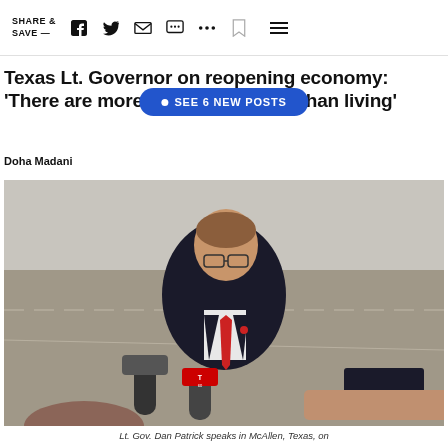SHARE & SAVE —
Texas Lt. Governor on reopening economy: 'There are more important things than living'
• SEE 6 NEW POSTS
Doha Madani
[Figure (photo): Lt. Gov. Dan Patrick speaks to reporters at an airport tarmac, with microphones including a Telemundo 60 mic held in front of him. He is wearing a dark pinstripe suit with a red tie and an American flag pin.]
Lt. Gov. Dan Patrick speaks in McAllen, Texas, on